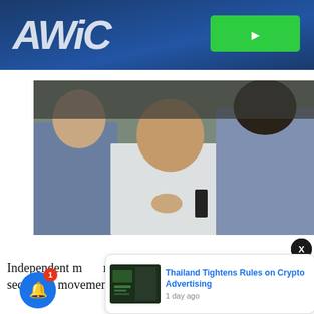[Figure (screenshot): News website banner advertisement with white italic logo text and green button on dark blue gradient background]
[Figure (photo): A man in a white shirt being restrained or surrounded by two men in blue shirts, one holding a recording device. Photographed indoors.]
[Figure (screenshot): Notification popup showing thumbnail of financial screen and headline 'Thailand Tightens Rules on Crypto Advertising' with timestamp '1 day ago'. Bell notification icon with red badge showing 1, and black X close button.]
Independent m nced to 2 a secession movement. Photo: Reuters Over the past